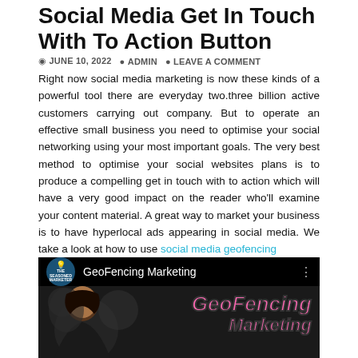Social Media Get In Touch With To Action Button
JUNE 10, 2022   ADMIN   LEAVE A COMMENT
Right now social media marketing is now these kinds of a powerful tool there are everyday two.three billion active customers carrying out company. But to operate an effective small business you need to optimise your social networking using your most important goals. The very best method to optimise your social websites plans is to produce a compelling get in touch with to action which will have a very good impact on the reader who'll examine your content material. A great way to market your business is to have hyperlocal ads appearing in social media. We take a look at how to use social media geofencing
[Figure (screenshot): YouTube video thumbnail showing 'GeoFencing Marketing' by The Seasoned Marketer channel, with a woman and large pink italic text 'GeoFencing Marketing' on a dark background]